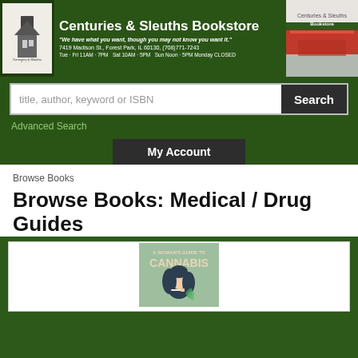Centuries & Sleuths Bookstore | "We have what you want, though you may not know you want it." | 7419 Madison St., Forest Park, IL 60130, (708)771-7243 | Tue - Fri 11AM - 7PM  Sat 10AM - 5PM  Sun Noon - 5PM  Monday CLOSED
title, author, keyword or ISBN
Search
Advanced Search
My Account
Browse Books
Browse Books: Medical / Drug Guides
[Figure (illustration): Book cover: A Woman's Guide to Cannabis, showing an illustrated woman's face with dark curly hair and a cannabis leaf motif on a teal/sage green background]